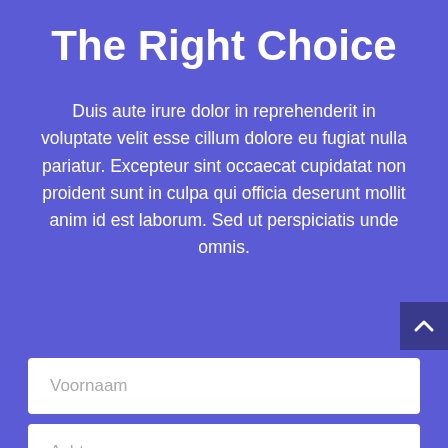The Right Choice
Duis aute irure dolor in reprehenderit in voluptate velit esse cillum dolore eu fugiat nulla pariatur. Excepteur sint occaecat cupidatat non proident sunt in culpa qui officia deserunt mollit anim id est laborum. Sed ut perspiciatis unde omnis.
[Figure (other): Scroll-up navigation button (dark navy square with upward chevron arrow icon), positioned at right edge]
Voornaam
Achternaam